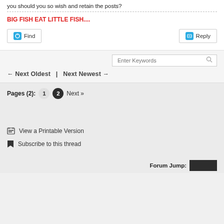you should you so wish and retain the posts?
BIG FISH EAT LITTLE FISH....
Find
Reply
Enter Keywords
← Next Oldest  |  Next Newest →
Pages (2): 1 2 Next »
View a Printable Version
Subscribe to this thread
Forum Jump: